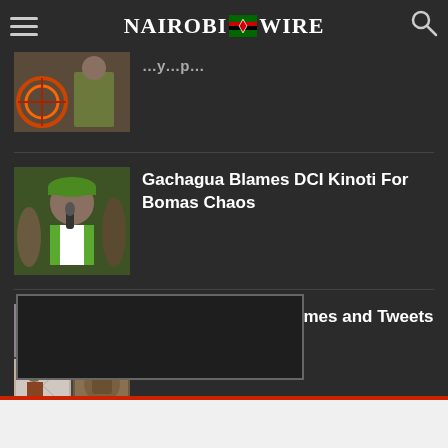Nairobi Wire
[Figure (photo): Partially cropped photo of a person in military/olive clothing near a colorful wheel or decoration]
[Figure (photo): Man in green cap speaking into a microphone outdoors]
Gachagua Blames DCI Kinoti For Bomas Chaos
[Figure (photo): Collage of four images showing people at various locations]
All The Trending Memes and Tweets This Friday
[Figure (other): Dark advertisement box with border]